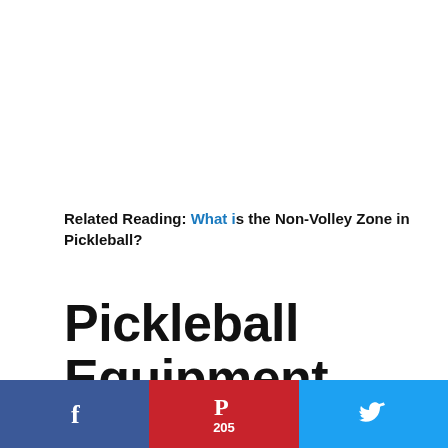Related Reading: What is the Non-Volley Zone in Pickleball?
Pickleball Equipment and Court
Like in any craft, knowing the rules makes it
Facebook | Pinterest 205 | Twitter